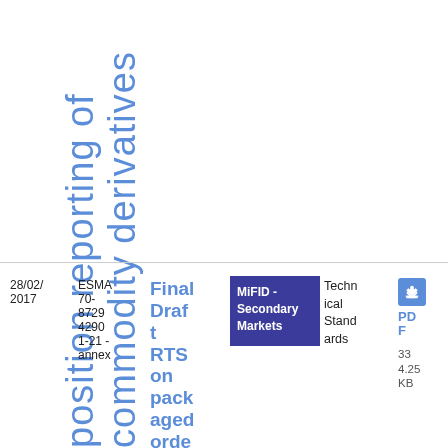position reporting of commodity derivatives
| Date | Reference | Title | Tag | Type | Download |
| --- | --- | --- | --- | --- | --- |
| 28/02/2017 | ESMA 70-8729 4290 1-21 - annex | Final Draft RTS on packaged orders | MiFID - Secondary Markets | Technical Standards | PDF 33
4.25 KB |